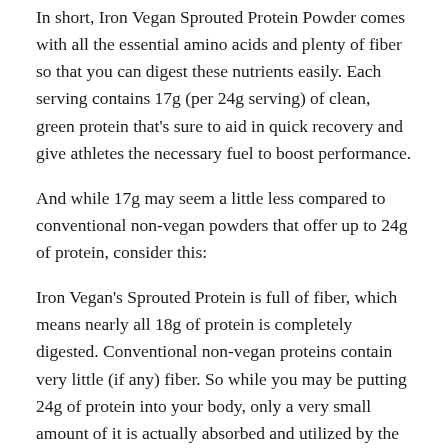In short, Iron Vegan Sprouted Protein Powder comes with all the essential amino acids and plenty of fiber so that you can digest these nutrients easily. Each serving contains 17g (per 24g serving) of clean, green protein that's sure to aid in quick recovery and give athletes the necessary fuel to boost performance.
And while 17g may seem a little less compared to conventional non-vegan powders that offer up to 24g of protein, consider this:
Iron Vegan's Sprouted Protein is full of fiber, which means nearly all 18g of protein is completely digested. Conventional non-vegan proteins contain very little (if any) fiber. So while you may be putting 24g of protein into your body, only a very small amount of it is actually absorbed and utilized by the body.